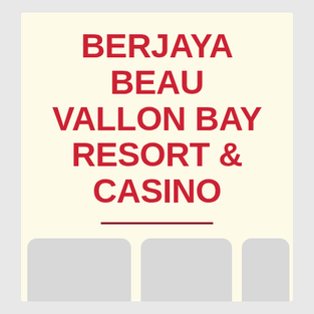BERJAYA BEAU VALLON BAY RESORT & CASINO
[Figure (photo): Three placeholder image boxes arranged in a horizontal row]